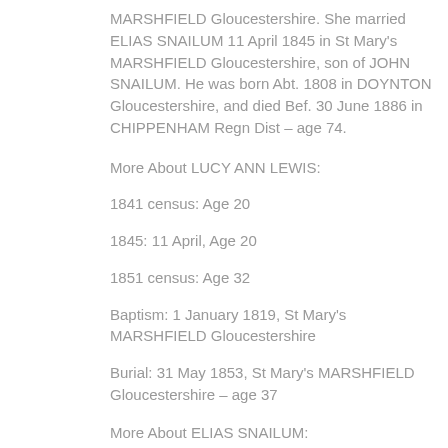MARSHFIELD Gloucestershire. She married ELIAS SNAILUM 11 April 1845 in St Mary's MARSHFIELD Gloucestershire, son of JOHN SNAILUM. He was born Abt. 1808 in DOYNTON Gloucestershire, and died Bef. 30 June 1886 in CHIPPENHAM Regn Dist – age 74.
More About LUCY ANN LEWIS:
1841 census: Age 20
1845: 11 April, Age 20
1851 census: Age 32
Baptism: 1 January 1819, St Mary's MARSHFIELD Gloucestershire
Burial: 31 May 1853, St Mary's MARSHFIELD Gloucestershire – age 37
More About ELIAS SNAILUM:
1841 census: Age 33 – Smith – MARSHFIELD Gloucestershire – with brother William & Charlotte
1845: 11 April, Age 30 – Blacksmith